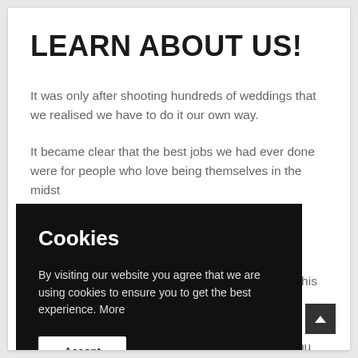LEARN ABOUT US!
It was only after shooting hundreds of weddings that we realised we have to do it our own way.
It became clear that the best jobs we had ever done were for people who love being themselves in the midst
n us. This
press
through ou
still and moving images.
[Figure (screenshot): Cookie consent overlay popup with black background, title 'Cookies', body text 'By visiting our website you agree that we are using cookies to ensure you to get the best experience. More', and an Accept button.]
[Figure (other): Scroll-to-top button, dark square with upward chevron arrow, positioned bottom right.]